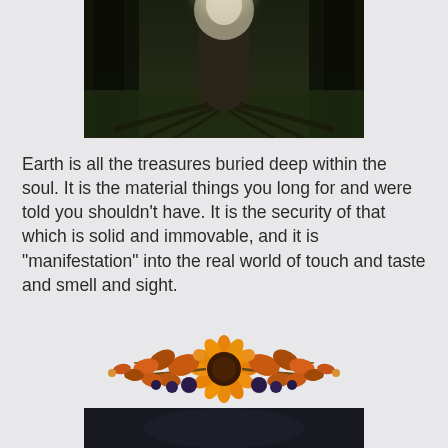[Figure (photo): Dark atmospheric photo of a large tree trunk with roots spreading outward in a forest setting, misty/foggy white glow at the top center of the trunk]
Earth is all the treasures buried deep within the soul. It is the material things you long for and were told you shouldn't have. It is the security of that which is solid and immovable, and it is "manifestation" into the real world of touch and taste and smell and sight.
[Figure (illustration): Decorative horizontal floral arrangement featuring autumn flowers including a large sunflower in the center, orange and brown leaves, and dark berries/flowers on branches]
[Figure (photo): Partial photo visible at bottom of page, cropped, appears to show a dark scene]